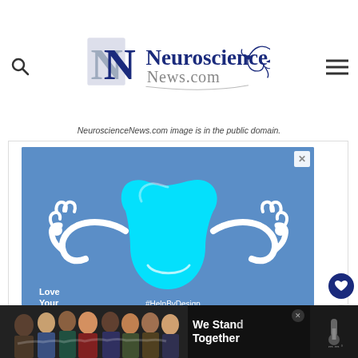NeuroscienceNews.com
NeuroscienceNews.com image is in the public domain.
[Figure (illustration): Advertisement showing a cyan face mask character with arms and hands against a blue background. Text reads 'Love Your Smile.' and '#HelpByDesign']
[Figure (photo): Bottom banner advertisement showing a group of people with arms around each other and text 'We Stand Together']